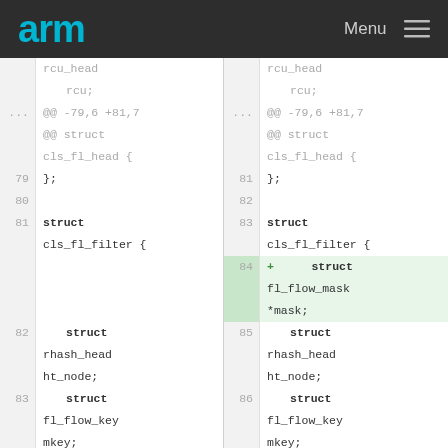arm  Menu
[Figure (screenshot): Side-by-side code diff view showing a C struct definition. Left panel shows original lines 79-84 with rcu_head, cls_fl_head, cls_fl_filter, rhash_head ht_node, fl_flow_key mkey, tcf_exts exts. Right panel shows modified lines 81-87 with an added line 84 inserting 'struct fl_flow_mask *mask;' highlighted in green.]